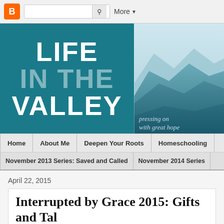[Figure (screenshot): Blogger toolbar with orange B icon, search box, and More dropdown button]
[Figure (illustration): Life in the Valley blog header banner with teal background, bold white title text 'LIFE IN THE VALLEY', mountain landscape illustration on right, and italic tagline 'pressing on with great hope']
Home | About Me | Deepen Your Roots | Homeschooling
November 2013 Series: Saved and Called | November 2014 Series
April 22, 2015
Interrupted by Grace 2015: Gifts and Tal
I'm blogging daily in April. Learn more about the s
Hi there!  I'm popping in a little later than usual today which, of course, h I had to prioritize my time differently and have not been able to blog till